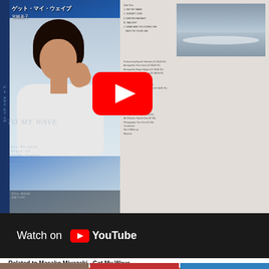[Figure (screenshot): YouTube video thumbnail showing a Japanese vinyl album 'Get My Wave' by Masako Miyazaki with album cover showing a woman in white and inner sleeve, overlaid with a YouTube play button]
Watch on YouTube
Related to Masako Miyazaki - Get My Wave
[Figure (photo): Album cover of James Ingram 'It's Your Night']
[Figure (photo): King Records red label vinyl single - Tommy Prisco 'Now I Know']
[Figure (photo): Michel Legrand compilation album cover with black and white photo]